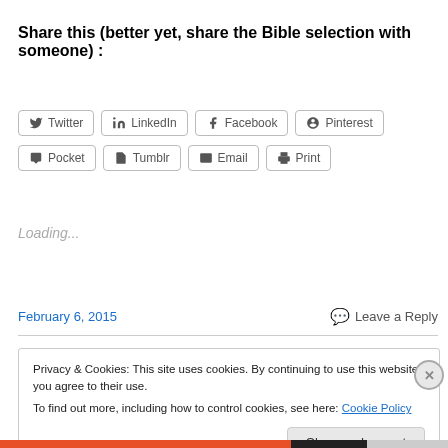Share this (better yet, share the Bible selection with someone) :
[Figure (other): Social media share buttons: Twitter, LinkedIn, Facebook, Pinterest, Pocket, Tumblr, Email, Print]
Loading...
February 6, 2015
Leave a Reply
Privacy & Cookies: This site uses cookies. By continuing to use this website, you agree to their use.
To find out more, including how to control cookies, see here: Cookie Policy
Close and accept